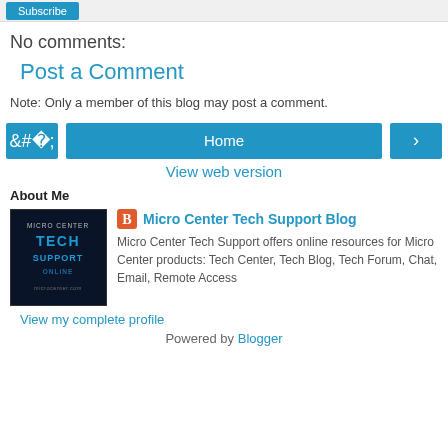[button]
No comments:
Post a Comment
Note: Only a member of this blog may post a comment.
[Figure (other): Navigation row with left arrow button, Home button, and right arrow button]
View web version
About Me
[Figure (logo): Micro Center Tech Support Online logo — dark background with blue text]
Micro Center Tech Support Blog
Micro Center Tech Support offers online resources for Micro Center products: Tech Center, Tech Blog, Tech Forum, Chat, Email, Remote Access
View my complete profile
Powered by Blogger